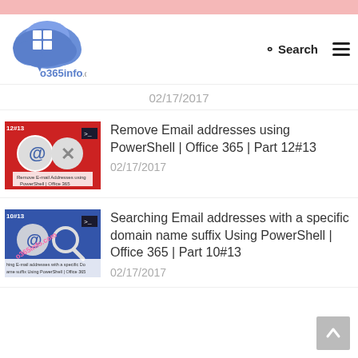o365info.com
02/17/2017
[Figure (screenshot): Thumbnail for Remove Email addresses using PowerShell Office 365 Part 12#13 - red background with @ and X icons]
Remove Email addresses using PowerShell | Office 365 | Part 12#13
02/17/2017
[Figure (screenshot): Thumbnail for Searching Email addresses with a specific domain name suffix Using PowerShell Office 365 Part 10#13 - blue background with @ and magnifying glass icons]
Searching Email addresses with a specific domain name suffix Using PowerShell | Office 365 | Part 10#13
02/17/2017